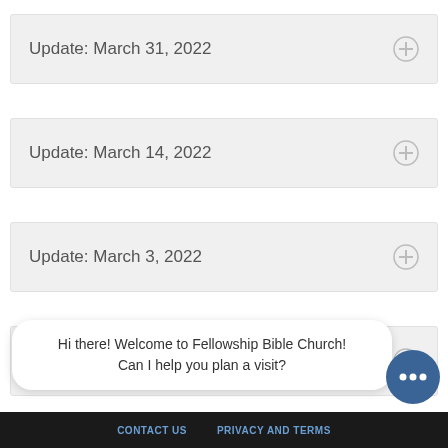Update: March 31, 2022
Update: March 14, 2022
Update: March 3, 2022
Update: February 3, 2022
Hi there! Welcome to Fellowship Bible Church! Can I help you plan a visit?
CONTACT US   PRIVACY AND TERMS